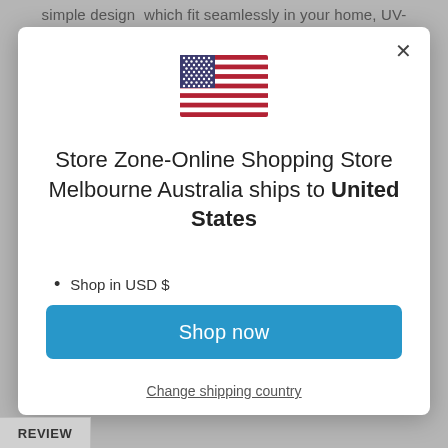simple design  which fit seamlessly in your home, UV-
[Figure (illustration): US flag icon centered in modal dialog]
Store Zone-Online Shopping Store Melbourne Australia ships to United States
Shop in USD $
Get shipping options for United States
Shop now
Change shipping country
REVIEW